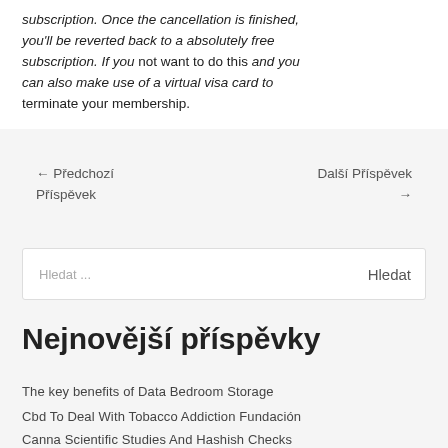www.KLEMPIRINA.CZ
subscription. Once the cancellation is finished, you'll be reverted back to a absolutely free subscription. If you do not want to do this and you can also make use of a virtual visa card to terminate your membership.
← Předchozí Příspěvek
Další Příspěvek →
Hledat ...
Nejnovější příspěvky
The key benefits of Data Bedroom Storage
Cbd To Deal With Tobacco Addiction Fundación
Canna Scientific Studies And Hashish Checks